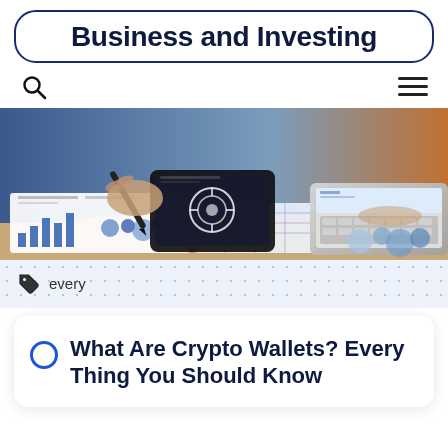Business and Investing
[Figure (photo): Person writing on financial charts with a stylus/pen near a laptop, financial graphs and pie charts visible on the desk]
every
What Are Crypto Wallets? Every Thing You Should Know